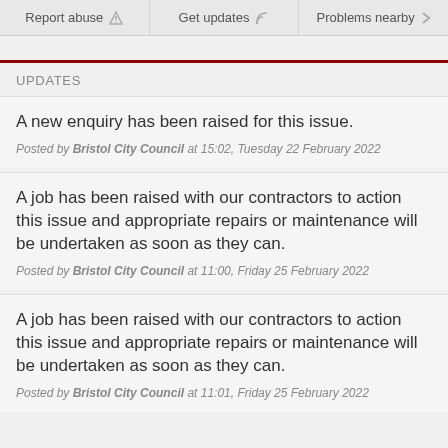Report abuse | Get updates | Problems nearby
UPDATES
A new enquiry has been raised for this issue.
Posted by Bristol City Council at 15:02, Tuesday 22 February 2022
A job has been raised with our contractors to action this issue and appropriate repairs or maintenance will be undertaken as soon as they can.
Posted by Bristol City Council at 11:00, Friday 25 February 2022
A job has been raised with our contractors to action this issue and appropriate repairs or maintenance will be undertaken as soon as they can.
Posted by Bristol City Council at 11:01, Friday 25 February 2022